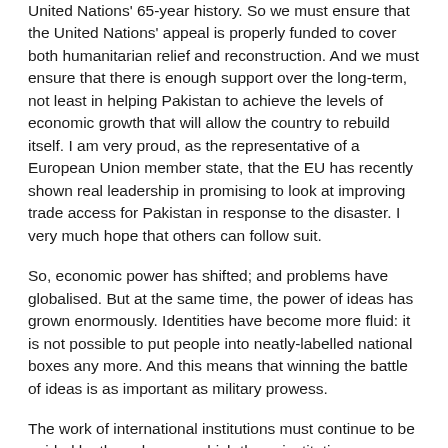United Nations' 65-year history. So we must ensure that the United Nations' appeal is properly funded to cover both humanitarian relief and reconstruction. And we must ensure that there is enough support over the long-term, not least in helping Pakistan to achieve the levels of economic growth that will allow the country to rebuild itself. I am very proud, as the representative of a European Union member state, that the EU has recently shown real leadership in promising to look at improving trade access for Pakistan in response to the disaster. I very much hope that others can follow suit.
So, economic power has shifted; and problems have globalised. But at the same time, the power of ideas has grown enormously. Identities have become more fluid: it is not possible to put people into neatly-labelled national boxes any more. And this means that winning the battle of ideas is as important as military prowess.
The work of international institutions must continue to be guided by the values on which those institutions were founded: the rule of law - both domestic and international; the right to freedom of expression and belief; democracy; the equality before the law.